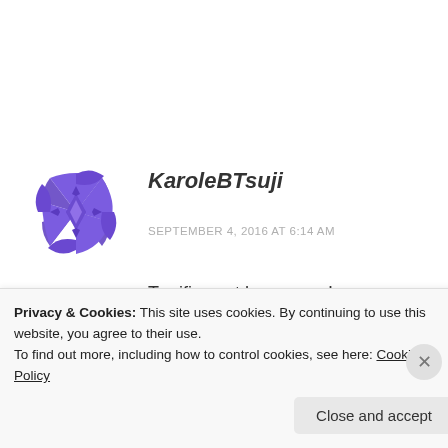[Figure (logo): Purple/blue decorative geometric avatar icon with star/cross diamond pattern]
KaroleBTsuji
SEPTEMBER 4, 2016 AT 6:14 AM
Terrific post however , I was wondering if you could write a litte more on this subject? I'd be very grateful if you could elaborate a little bit more. Cheers!
Privacy & Cookies: This site uses cookies. By continuing to use this website, you agree to their use.
To find out more, including how to control cookies, see here: Cookie Policy
Close and accept